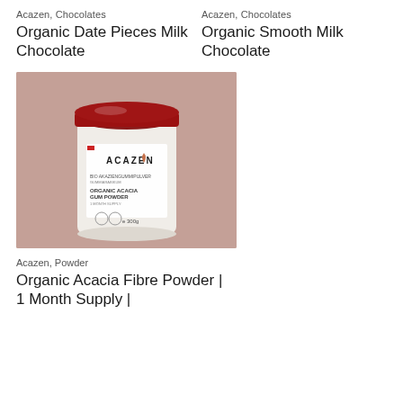Acazen, Chocolates
Organic Date Pieces Milk Chocolate
Acazen, Chocolates
Organic Smooth Milk Chocolate
[Figure (photo): Acazen branded white cylindrical container with dark red lid containing Organic Acacia Gum Powder, on a pinkish-beige background]
Acazen, Powder
Organic Acacia Fibre Powder | 1 Month Supply |